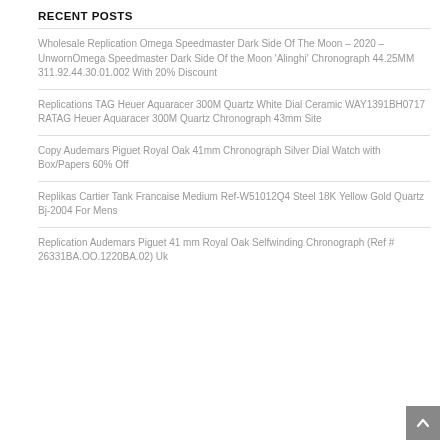RECENT POSTS
Wholesale Replication Omega Speedmaster Dark Side Of The Moon – 2020 – UnwornOmega Speedmaster Dark Side Of the Moon 'Alinghi' Chronograph 44.25MM 311.92.44.30.01.002 With 20% Discount
Replications TAG Heuer Aquaracer 300M Quartz White Dial Ceramic WAY1391BH0717 RATAG Heuer Aquaracer 300M Quartz Chronograph 43mm Site
Copy Audemars Piguet Royal Oak 41mm Chronograph Silver Dial Watch with Box/Papers 60% Off
Replikas Cartier Tank Francaise Medium Ref-W51012Q4 Steel 18K Yellow Gold Quartz Bj-2004 For Mens
Replication Audemars Piguet 41 mm Royal Oak Selfwinding Chronograph (Ref # 26331BA.OO.1220BA.02) Uk